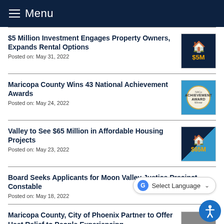Menu
$5 Million Investment Engages Property Owners, Expands Rental Options
Posted on: May 31, 2022
[Figure (illustration): Dark navy background with house icon and '$5M' text in gold]
Maricopa County Wins 43 National Achievement Awards
Posted on: May 24, 2022
[Figure (illustration): Blue background with circular gold Achievement Award badge]
Valley to See $65 Million in Affordable Housing Projects
Posted on: May 23, 2022
[Figure (illustration): Navy and blue gradient background with house icon and '$65M' text in gold]
Board Seeks Applicants for Moon Valley Justice Precinct Constable
Posted on: May 18, 2022
Maricopa County, City of Phoenix Partner to Offer Heat Relief to People Experiencing